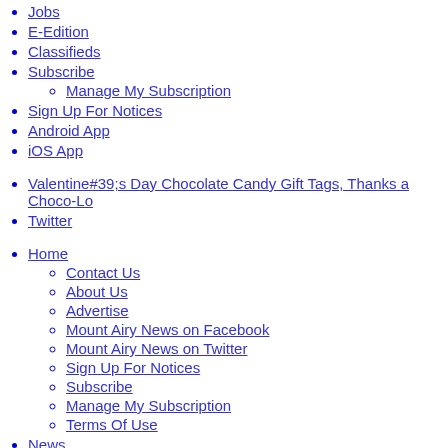Jobs
E-Edition
Classifieds
Subscribe
Manage My Subscription
Sign Up For Notices
Android App
iOS App
Valentine#39;s Day Chocolate Candy Gift Tags, Thanks a Choco-Lo
Twitter
Home
Contact Us
About Us
Advertise
Mount Airy News on Facebook
Mount Airy News on Twitter
Sign Up For Notices
Subscribe
Manage My Subscription
Terms Of Use
News
Archive